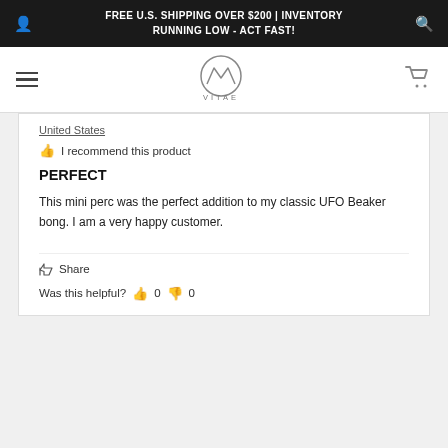FREE U.S. SHIPPING OVER $200 | INVENTORY RUNNING LOW - ACT FAST!
[Figure (logo): VITAE brand logo with geometric mountain/W symbol and text VITAE below]
United States
I recommend this product
PERFECT
This mini perc was the perfect addition to my classic UFO Beaker bong. I am a very happy customer.
Share
Was this helpful?   0   0